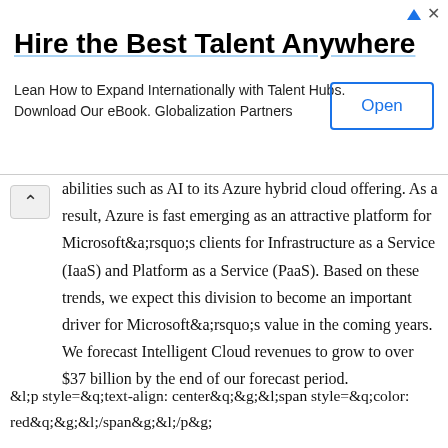[Figure (other): Advertisement banner: 'Hire the Best Talent Anywhere' with Open button]
abilities such as AI to its Azure hybrid cloud offering. As a result, Azure is fast emerging as an attractive platform for Microsoft&a;rsquo;s clients for Infrastructure as a Service (IaaS) and Platform as a Service (PaaS). Based on these trends, we expect this division to become an important driver for Microsoft&a;rsquo;s value in the coming years. We forecast Intelligent Cloud revenues to grow to over $37 billion by the end of our forecast period.
&l;p style=&q;text-align: center&q;&g;&l;span style=&q;color: red&q;&g;&l;/span&g;&l;/p&g;
We also project operating profit margins to improve to 35% by 2024 as the cloud service ARR grows in the coming years.